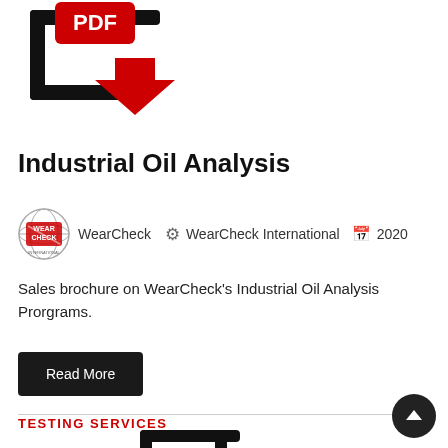[Figure (illustration): PDF download icon: black outline of a document with red PDF label and red downward arrow]
Industrial Oil Analysis
WearCheck  🌐  WearCheck International  📅  2020
Sales brochure on WearCheck's Industrial Oil Analysis Prorgrams.
Read More
TESTING SERVICES
[Figure (illustration): Bottom portion of a PDF/document icon with red label, partially visible at bottom of page]